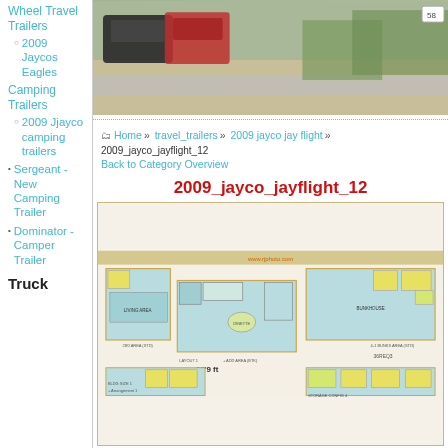Wheel Travel Trailers
2009 Jaycos Eagles
Camping Trailers
2009 Jjayco camping trailers
Sergeant - New Camping Trailer
Dominator - Camper Trailer
Truck
[Figure (photo): Parking lot photo showing vehicles parked near gravel/dirt area with vegetation in background. Badge showing number 58 in top right.]
Home » travel_trailers » 2009 jayco jay flight » 2009_jayco_jayflight_12
Back to Category Overview
2009_jayco_jayflight_12
[Figure (engineering-diagram): Jayco Jay Flight 12 floor plan diagram showing multiple layout views of the travel trailer with room labels, dimensions, and optional configurations.]